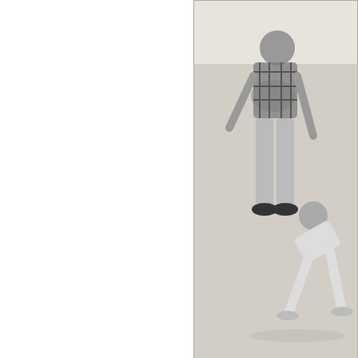[Figure (photo): Black and white photograph of two people performing karate moves, with one person in a plaid shirt grabbing another person who is bent over. Text 'MONO C-1005' appears in red at the bottom of the image.]
“Karate for the Family”  An instructional ... itself … from each other.   (Strangely on...
(58 votes, average: 3...
Martial art
November 28th, 2008 in 45 Picture Sleeves, Ill...